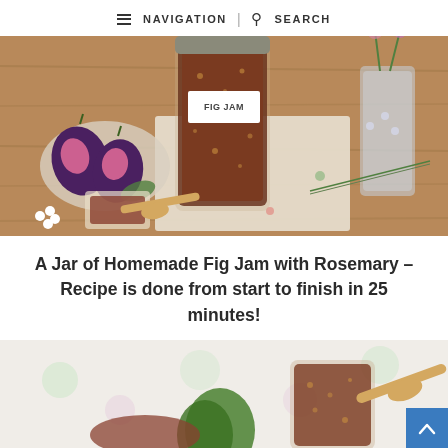NAVIGATION | SEARCH
[Figure (photo): A jar labeled 'FIG JAM' filled with dark fig jam, surrounded by fresh figs on a plate, a small glass bowl with jam and a wooden spoon, white flowers, and a vase in the background, all on a wooden table.]
A Jar of Homemade Fig Jam with Rosemary – Recipe is done from start to finish in 25 minutes!
[Figure (photo): A close-up of a glass bowl/jar of fig jam with figs and a floral tablecloth background.]